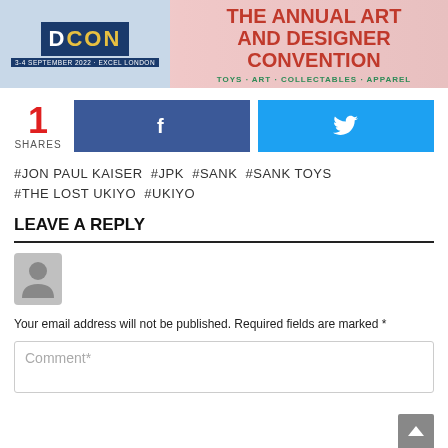[Figure (illustration): DCON banner: The Annual Art and Designer Convention – Toys, Art, Collectables, Apparel. 3-4 September 2022, Excel London.]
1
SHARES
[Figure (infographic): Facebook share button (blue) and Twitter share button (light blue) with bird icon]
#JON PAUL KAISER  #JPK  #SANK  #SANK TOYS
#THE LOST UKIYO  #UKIYO
LEAVE A REPLY
[Figure (illustration): Grey avatar/user silhouette icon]
Your email address will not be published. Required fields are marked *
Comment*